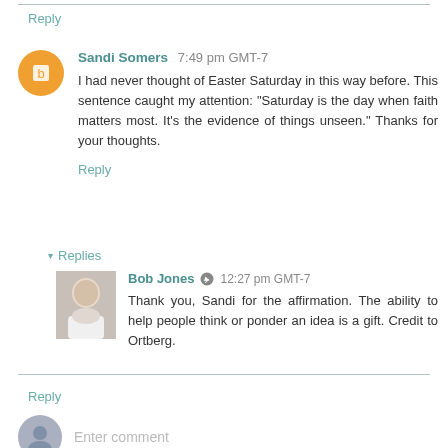Reply
Sandi Somers  7:49 pm GMT-7
I had never thought of Easter Saturday in this way before. This sentence caught my attention: "Saturday is the day when faith matters most. It's the evidence of things unseen." Thanks for your thoughts.
Reply
▾  Replies
Bob Jones  12:27 pm GMT-7
Thank you, Sandi for the affirmation. The ability to help people think or ponder an idea is a gift. Credit to Ortberg.
Reply
Enter comment